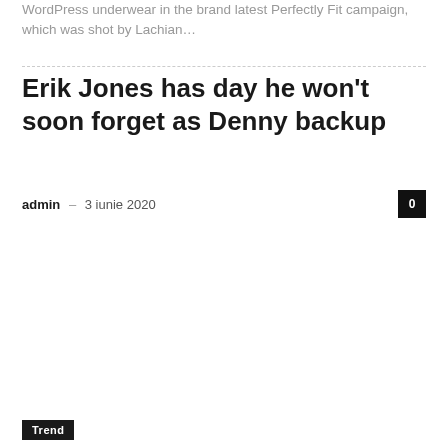WordPress underwear in the brand latest Perfectly Fit campaign, which was shot by Lachian…
Erik Jones has day he won't soon forget as Denny backup
admin – 3 iunie 2020
Trend